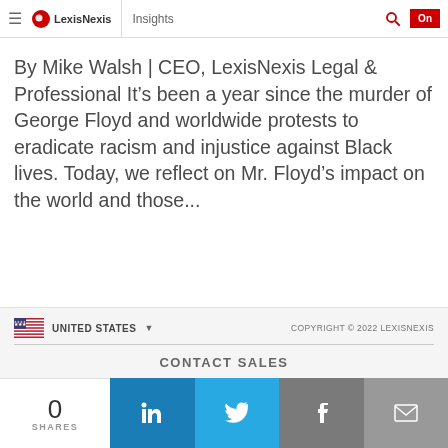LexisNexis | Insights
By Mike Walsh | CEO, LexisNexis Legal & Professional It's been a year since the murder of George Floyd and worldwide protests to eradicate racism and injustice against Black lives. Today, we reflect on Mr. Floyd's impact on the world and those...
UNITED STATES | COPYRIGHT © 2022 LEXISNEXIS
CONTACT SALES
0 SHARES